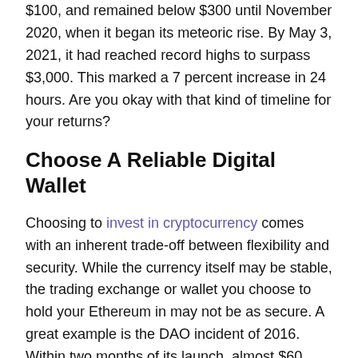$100, and remained below $300 until November 2020, when it began its meteoric rise. By May 3, 2021, it had reached record highs to surpass $3,000. This marked a 7 percent increase in 24 hours. Are you okay with that kind of timeline for your returns?
Choose A Reliable Digital Wallet
Choosing to invest in cryptocurrency comes with an inherent trade-off between flexibility and security. While the currency itself may be stable, the trading exchange or wallet you choose to hold your Ethereum in may not be as secure. A great example is the DAO incident of 2016. Within two months of its launch, almost $60 million of ether had disappeared due to hacking. Make a mistake and choose the wrong wallet, and the gains you hope to enjoy from your Ethereum investment are at risk.
If you choose to go with an Ethereum wallet, you can either choose a hot or cold wallet. While hot wallets are generally more accessible due to their storage of your